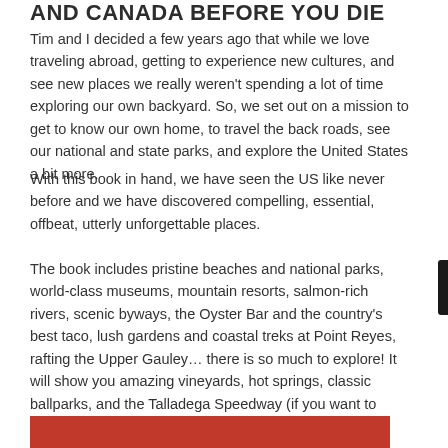AND CANADA BEFORE YOU DIE
Tim and I decided a few years ago that while we love traveling abroad, getting to experience new cultures, and see new places we really weren't spending a lot of time exploring our own backyard. So, we set out on a mission to get to know our own home, to travel the back roads, see our national and state parks, and explore the United States a bit more.
With this book in hand, we have seen the US like never before and we have discovered compelling, essential, offbeat, utterly unforgettable places.
The book includes pristine beaches and national parks, world-class museums, mountain resorts, salmon-rich rivers, scenic byways, the Oyster Bar and the country's best taco, lush gardens and coastal treks at Point Reyes, rafting the Upper Gauley… there is so much to explore! It will show you amazing vineyards, hot springs, classic ballparks, and the Talladega Speedway (if you want to meet Ricky Bobby).
[Figure (other): Red banner/bar at the bottom of the page, partially visible]